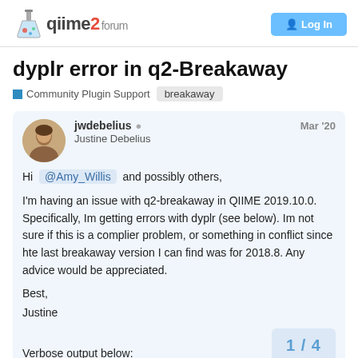qiime2 forum | Login
dyplr error in q2-Breakaway
Community Plugin Support  breakaway
jwdebelius  Justine Debelius  Mar '20
Hi @Amy_Willis and possibly others,

I'm having an issue with q2-breakaway in QIIME 2019.10.0. Specifically, Im getting errors with dyplr (see below). Im not sure if this is a complier problem, or something in conflict since hte last breakaway version I can find was for 2018.8. Any advice would be appreciated.

Best,
Justine

Verbose output below: